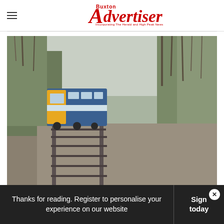Buxton Advertiser — Incorporating The Herald and High Peak News
[Figure (photo): A passenger train with a yellow front on a single-track railway line running through a wooded cutting, with an orange traffic cone visible on the gravel trackside, trees bare of leaves on both sides]
Thanks for reading. Register to personalise your experience on our website
Sign today